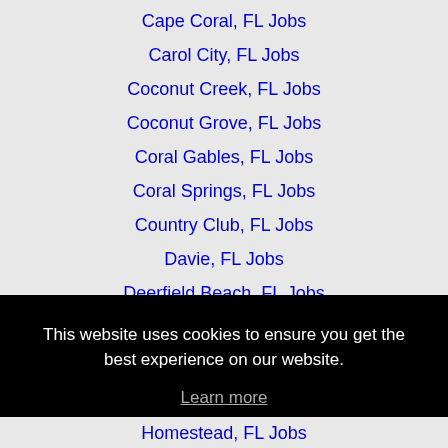Cape Coral, FL Jobs
Carol City, FL Jobs
Coconut Creek, FL Jobs
Coconut Grove, FL Jobs
Coral Gables, FL Jobs
Coral Springs, FL Jobs
Country Club, FL Jobs
Davie, FL Jobs
Deerfield Beach, FL Jobs
This website uses cookies to ensure you get the best experience on our website.
Learn more
Got it!
Homestead, FL Jobs